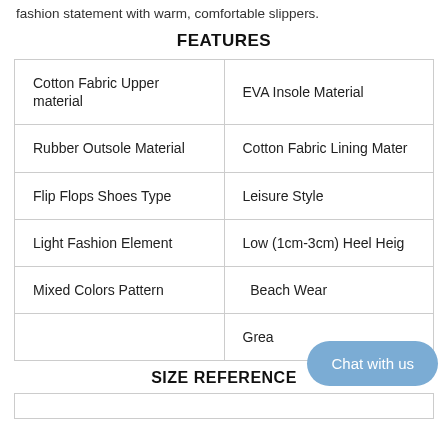fashion statement with warm, comfortable slippers.
FEATURES
| Cotton Fabric Upper material | EVA Insole Material |
| Rubber Outsole Material | Cotton Fabric Lining Mater… |
| Flip Flops Shoes Type | Leisure Style |
| Light Fashion Element | Low (1cm-3cm) Heel Heig… |
| Mixed Colors Pattern | Beach Wear |
|  | Grea… |
SIZE REFERENCE